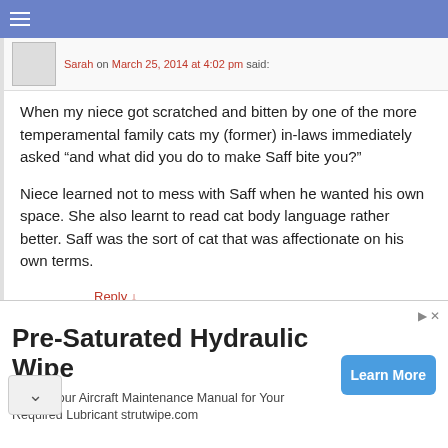When my niece got scratched and bitten by one of the more temperamental family cats my (former) in-laws immediately asked “and what did you do to make Saff bite you?”

Niece learned not to mess with Saff when he wanted his own space. She also learnt to read cat body language rather better. Saff was the sort of cat that was affectionate on his own terms.
Reply ↓
Michael Broad on March 13, 2014 at 7:33 pm said:
e reaction you describe is sensible and it appears to be
Pre-Saturated Hydraulic Wipe
Check Your Aircraft Maintenance Manual for Your Required Lubricant strutwipe.com
Learn More